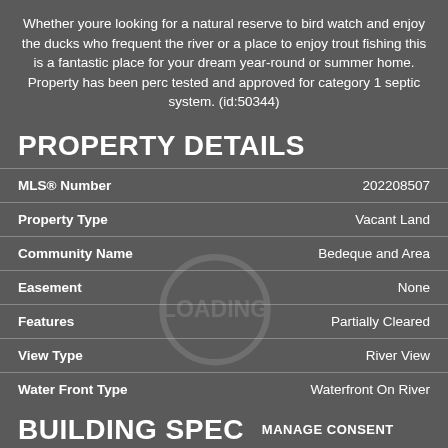Whether youre looking for a natural reserve to bird watch and enjoy the ducks who frequent the river or a place to enjoy trout fishing this is a fantastic place for your dream year-round or summer home. Property has been perc tested and approved for category 1 septic system. (id:50344)
PROPERTY DETAILS
| Field | Value |
| --- | --- |
| MLS® Number | 202208507 |
| Property Type | Vacant Land |
| Community Name | Bedeque and Area |
| Easement | None |
| Features | Partially Cleared |
| View Type | River View |
| Water Front Type | Waterfront On River |
BUILDING SPEC